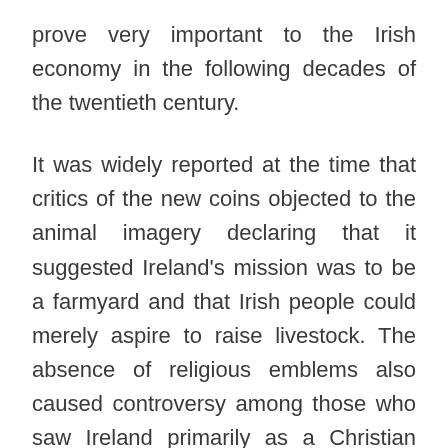prove very important to the Irish economy in the following decades of the twentieth century.
It was widely reported at the time that critics of the new coins objected to the animal imagery declaring that it suggested Ireland's mission was to be a farmyard and that Irish people could merely aspire to raise livestock. The absence of religious emblems also caused controversy among those who saw Ireland primarily as a Christian nation. Some considered the choice of animals (as products) as the triumph of materialism over